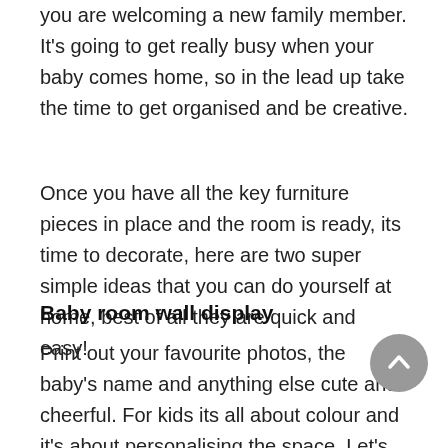you are welcoming a new family member. It's going to get really busy when your baby comes home, so in the lead up take the time to get organised and be creative.
Once you have all the key furniture pieces in place and the room is ready, its time to decorate, here are two super simple ideas that you can do yourself at home, best of all they are quick and easy!
Baby room wall display
Print out your favourite photos, the baby's name and anything else cute and cheerful. For kids its all about colour and it's about personalising the space. Let's be honest this is just as much for you as it is